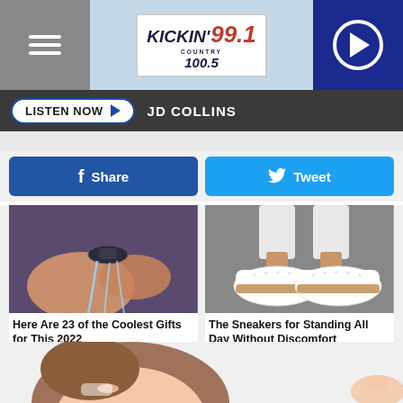[Figure (screenshot): Kickin' 99.1 Country 100.5 radio station website header with hamburger menu, logo, and play button]
LISTEN NOW ▶  JD COLLINS
[Figure (screenshot): Facebook Share button and Twitter Tweet button]
[Figure (photo): Hand with ring-shaped water faucet accessory with water flowing]
Here Are 23 of the Coolest Gifts for This 2022
CoolGifts  Learn More
[Figure (photo): Person wearing white sneakers standing on pavement]
The Sneakers for Standing All Day Without Discomfort
dotmall  Shop Now
[Figure (illustration): Partial cartoon illustration of person at bottom of page]